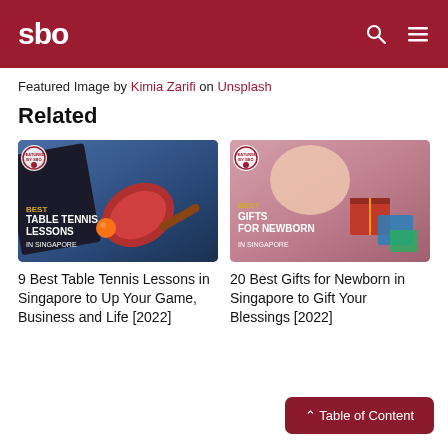sbo
Featured Image by Kimia Zarifi on Unsplash
Related
[Figure (photo): Table tennis paddle and orange ball on a blue table surface with SBO badge overlay and text: BEST TABLE TENNIS LESSONS IN SINGAPORE]
9 Best Table Tennis Lessons in Singapore to Up Your Game, Business and Life [2022]
[Figure (photo): Baby hands reaching for colorful gift boxes with SBO badge overlay and text: BEST GIFTS FOR NEWBORN IN SINGAPORE]
20 Best Gifts for Newborn in Singapore to Gift Your Blessings [2022]
^ Table of Content